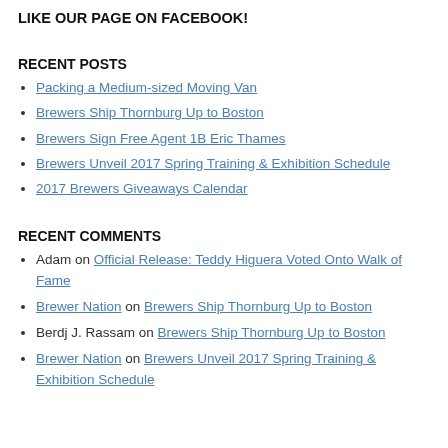LIKE OUR PAGE ON FACEBOOK!
RECENT POSTS
Packing a Medium-sized Moving Van
Brewers Ship Thornburg Up to Boston
Brewers Sign Free Agent 1B Eric Thames
Brewers Unveil 2017 Spring Training & Exhibition Schedule
2017 Brewers Giveaways Calendar
RECENT COMMENTS
Adam on Official Release: Teddy Higuera Voted Onto Walk of Fame
Brewer Nation on Brewers Ship Thornburg Up to Boston
Berdj J. Rassam on Brewers Ship Thornburg Up to Boston
Brewer Nation on Brewers Unveil 2017 Spring Training & Exhibition Schedule